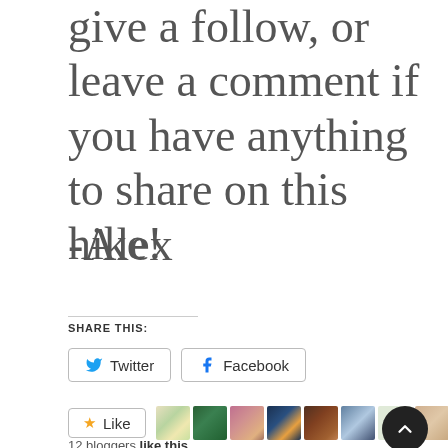give a follow, or leave a comment if you have anything to share on this hike!
-Alex
SHARE THIS:
Twitter
Facebook
Like
12 bloggers like this.